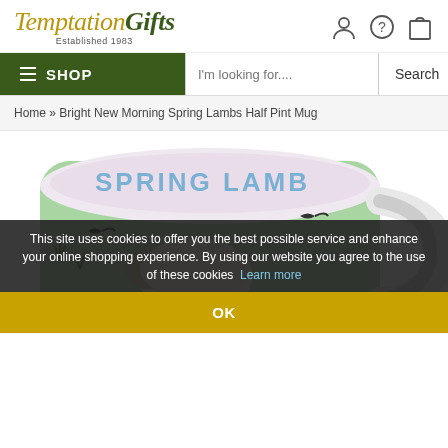[Figure (logo): Temptation Gifts logo with 'Established 1983' tagline and navigation icons (person, help, shopping bag)]
[Figure (screenshot): Navigation bar with green SHOP button and hamburger icon, search input field with placeholder 'I'm looking for...', and Search button]
Home » Bright New Morning Spring Lambs Half Pint Mug
[Figure (photo): Close-up photo of a ceramic mug with light green exterior, white interior rim reading 'SPRING LAMBS' in blue text, with illustration of a white sheep/lamb and small birds]
This site uses cookies to offer you the best possible service and enhance your online shopping experience. By using our website you agree to the use of these cookies  Learn more
OK